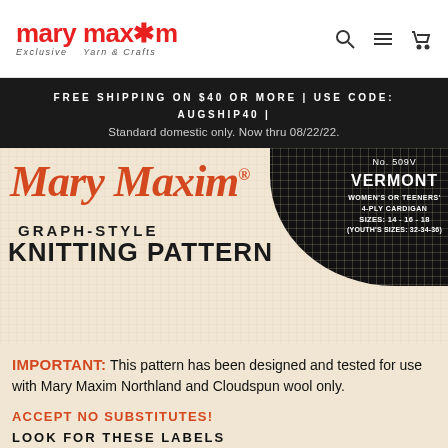mary maxim — Exclusive Yarn & Crafts
FREE SHIPPING ON $40 OR MORE | USE CODE: AUGSHIP40 | Standard domestic only. Now thru 08/22/22.
[Figure (illustration): Mary Maxim vintage knitting pattern cover. Title in orange script 'Mary Maxim' with registered mark, subtitle 'GRAPH-STYLE KNITTING PATTERN' in black bold. Black splash in top right corner with text: No. 509V VERMONT WOMEN'S OR TEENERS' 4-PLY CARDIGAN SIZES: 14-16-18 (YOUTH'S SIZES: 32-34-36)]
IMPORTANT: This pattern has been designed and tested for use with Mary Maxim Northland and Cloudspun wool only.
ACCEPT NO SUBSTITUTES!
LOOK FOR THESE LABELS
[Figure (photo): Bottom strip showing yarn label items and a woman's portrait photo, partially cropped.]